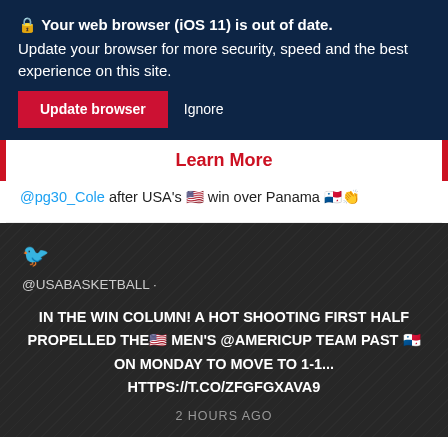🔒 Your web browser (iOS 11) is out of date. Update your browser for more security, speed and the best experience on this site.
Update browser   Ignore
Learn More
@pg30_Cole after USA's 🇺🇸 win over Panama 🇵🇦👏
@USABASKETBALL
IN THE WIN COLUMN! A HOT SHOOTING FIRST HALF PROPELLED THE🇺🇸 MEN'S @AMERICUP TEAM PAST 🇵🇦 ON MONDAY TO MOVE TO 1-1... HTTPS://T.CO/ZFGFGXAVA9
2 HOURS AGO